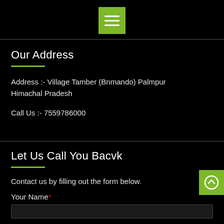[Figure (other): Green menu/hamburger icon button at top center of page]
Our Address
Address  :- Village Tamber (Bnmando) Palmpur Himachal Pradesh
Call Us :- 7559786000
Let Us Call You Bacvk
Contact us by filling out the form below.
Your Name *